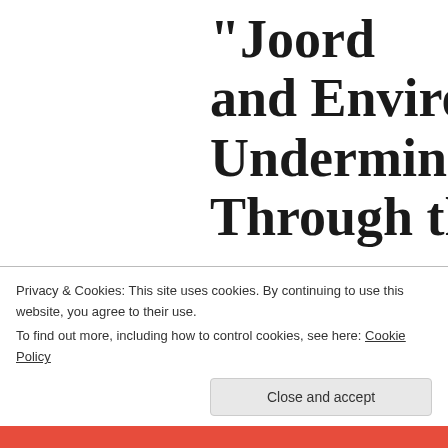“Joint Coord... and Environ... Undermining... Through the...
START HERE
A Weapon of Democracy in the Forests
What Is This Act About?
                       
On July 6th, the Ministry of En... Affairs issued a “joint commun... implementation of the Forest R... more than it reveals and we fe...
Privacy & Cookies: This site uses cookies. By continuing to use this website, you agree to their use.
To find out more, including how to control cookies, see here: Cookie Policy
Close and accept